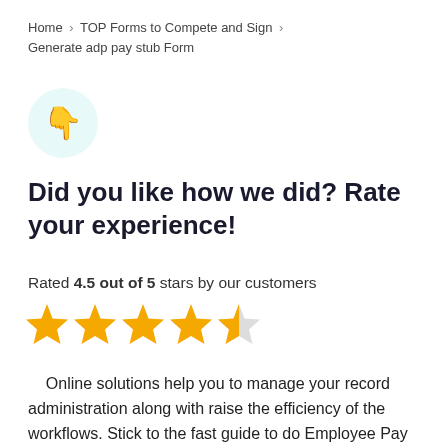Home › TOP Forms to Compete and Sign › Generate adp pay stub Form
[Figure (illustration): Thumbs down emoji icon on a light teal circular background]
Did you like how we did? Rate your experience!
Rated 4.5 out of 5 stars by our customers
[Figure (other): 4.5 out of 5 star rating shown as four full gold stars and one half gold star]
Online solutions help you to manage your record administration along with raise the efficiency of the workflows. Stick to the fast guide to do Employee Pay Stub, steer clear of blunders along with furnish it in a timely manner: